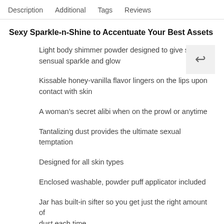Description   Additional   Tags   Reviews
Sexy Sparkle-n-Shine to Accentuate Your Best Assets
Light body shimmer powder designed to give skin a sensual sparkle and glow
Kissable honey-vanilla flavor lingers on the lips upon contact with skin
A woman’s secret alibi when on the prowl or anytime
Tantalizing dust provides the ultimate sexual temptation
Designed for all skin types
Enclosed washable, powder puff applicator included
Jar has built-in sifter so you get just the right amount of dust each time